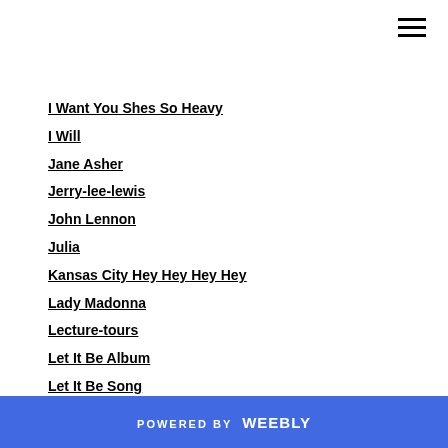I Want You Shes So Heavy
I Will
Jane Asher
Jerry-lee-lewis
John Lennon
Julia
Kansas City Hey Hey Hey Hey
Lady Madonna
Lecture-tours
Let It Be Album
Let It Be Song
Like Dreamers Do
Little Child
Little-richard
Long Long Long
POWERED BY weebly